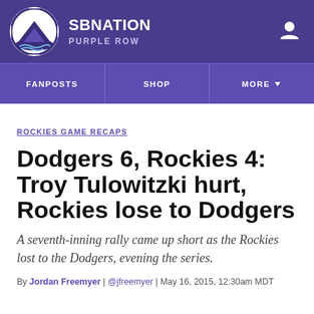SB NATION | PURPLE ROW
FANPOSTS | SHOP | MORE
ROCKIES GAME RECAPS
Dodgers 6, Rockies 4: Troy Tulowitzki hurt, Rockies lose to Dodgers
A seventh-inning rally came up short as the Rockies lost to the Dodgers, evening the series.
By Jordan Freemyer | @jfreemyer | May 16, 2015, 12:30am MDT